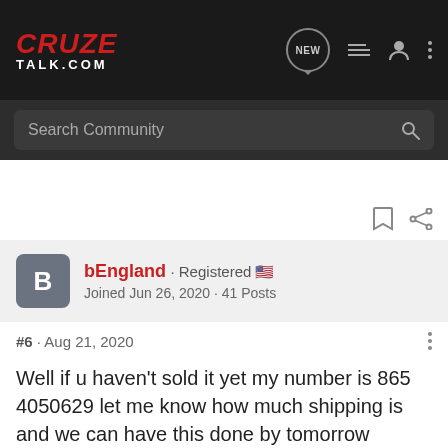CRUZE TALK.COM
Search Community
bEngland · Registered
Joined Jun 26, 2020 · 41 Posts
#6 · Aug 21, 2020
Well if u haven't sold it yet my number is 865 4050629 let me know how much shipping is and we can have this done by tomorrow